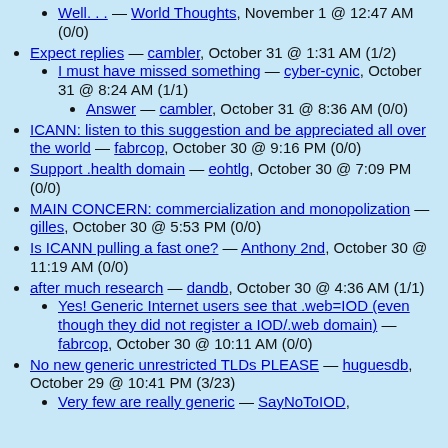Well... — World Thoughts, November 1 @ 12:47 AM (0/0)
Expect replies — cambler, October 31 @ 1:31 AM (1/2)
I must have missed something — cyber-cynic, October 31 @ 8:24 AM (1/1)
Answer — cambler, October 31 @ 8:36 AM (0/0)
ICANN: listen to this suggestion and be appreciated all over the world — fabrcop, October 30 @ 9:16 PM (0/0)
Support .health domain — eohtlg, October 30 @ 7:09 PM (0/0)
MAIN CONCERN: commercialization and monopolization — gilles, October 30 @ 5:53 PM (0/0)
Is ICANN pulling a fast one? — Anthony 2nd, October 30 @ 11:19 AM (0/0)
after much research — dandb, October 30 @ 4:36 AM (1/1)
Yes! Generic Internet users see that .web=IOD (even though they did not register a IOD/.web domain) — fabrcop, October 30 @ 10:11 AM (0/0)
No new generic unrestricted TLDs PLEASE — huguesdb, October 29 @ 10:41 PM (3/23)
Very few are really generic — SayNoToIOD,